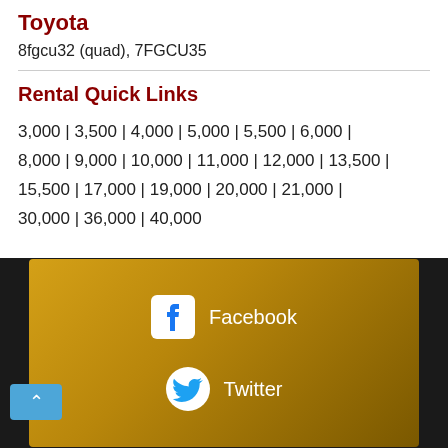Toyota
8fgcu32 (quad), 7FGCU35
Rental Quick Links
3,000 | 3,500 | 4,000 | 5,000 | 5,500 | 6,000 | 8,000 | 9,000 | 10,000 | 11,000 | 12,000 | 13,500 | 15,500 | 17,000 | 19,000 | 20,000 | 21,000 | 30,000 | 36,000 | 40,000
[Figure (other): Dark footer with gold gradient box containing Facebook and Twitter social media icons and labels, and a blue scroll-to-top button]